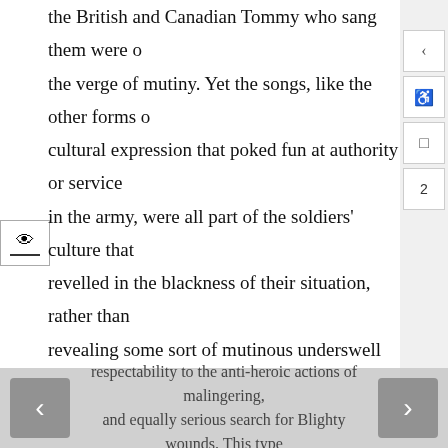the British and Canadian Tommy who sang them were on the verge of mutiny. Yet the songs, like the other forms of cultural expression that poked fun at authority or service in the army, were all part of the soldiers' culture that revelled in the blackness of their situation, rather than revealing some sort of mutinous underswell in the rank and file. In fact, like the regular grousing and complaining so prevalent in the army, the soldiers' anti-heroic songs were a method of relieving pressure, allowing for discontent to slowly dissipate rather than build up for a climactic explosion.

Anti-heroic jokes, stories, cartoons, and songs all offered respectability to the anti-heroic actions of malingering and equally serious search for Blighty wounds. This type